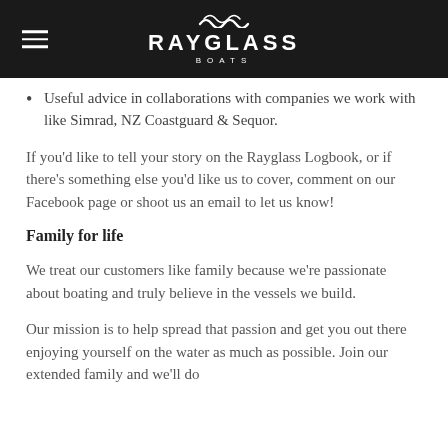RAYGLASS BOATS
Useful advice in collaborations with companies we work with like Simrad, NZ Coastguard & Sequor.
If you'd like to tell your story on the Rayglass Logbook, or if there's something else you'd like us to cover, comment on our Facebook page or shoot us an email to let us know!
Family for life
We treat our customers like family because we're passionate about boating and truly believe in the vessels we build.
Our mission is to help spread that passion and get you out there enjoying yourself on the water as much as possible. Join our extended family and we'll do